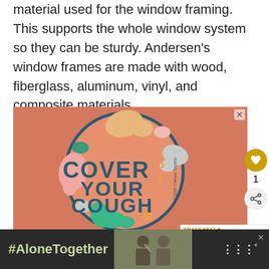material used for the window framing. This supports the whole window system so they can be sturdy. Andersen's window frames are made with wood, fiberglass, aluminum, vinyl, and composite materials.
[Figure (illustration): Orange/terracotta background circular badge with decorative colorful blob shapes and text 'COVER YOUR COUGH' in dark teal lettering with '©2020 Chelsie Tamms' written along the side. Advertisement with close (X) button.]
[Figure (photo): Thumbnail image showing wooden door/window trim in brown tones. Part of a 'WHAT'S NEXT' recommendation widget with text 'How Often Should You...']
[Figure (infographic): Bottom banner advertisement with dark background showing '#AloneTogether' text in green on dark background, a photo of two people waving, and a logo mark on the right side. Has a close (X) button.]